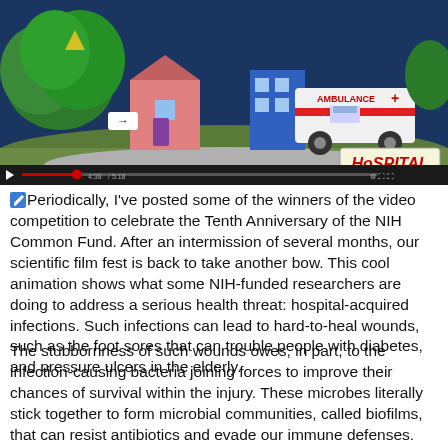[Figure (screenshot): A YouTube video screenshot showing a cartoon/animation scene with an ambulance labeled 'AMBULANCE +' and a sign that reads 'HOSPITAL', set against a stylized background with trees and colorful buildings. A video progress bar is visible at the bottom of the player.]
Periodically, I've posted some of the winners of the video competition to celebrate the Tenth Anniversary of the NIH Common Fund. After an intermission of several months, our scientific film fest is back to take another bow. This cool animation shows what some NIH-funded researchers are doing to address a serious health threat: hospital-acquired infections. Such infections can lead to hard-to-heal wounds, such as the foot sores that can trouble people with diabetes, and pressure ulcers in the elderly.
The stubbornness of such wounds owes, in part, to the infection-causing bacteria joining forces to improve their chances of survival within the injury. These microbes literally stick together to form microbial communities, called biofilms, that can resist antibiotics and evade our immune defenses. This strength in numbers has researchers pondering strategies that target the entire